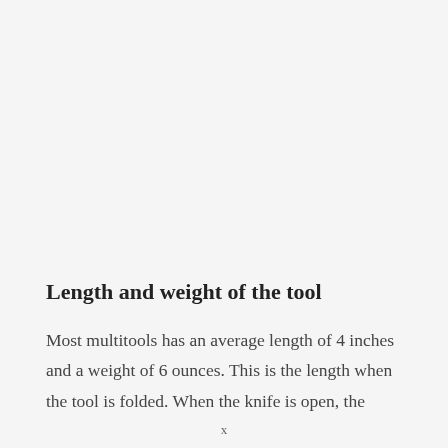Length and weight of the tool
Most multitools has an average length of 4 inches and a weight of 6 ounces. This is the length when the tool is folded. When the knife is open, the
x